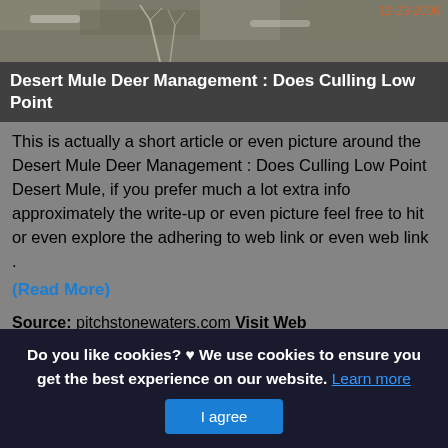[Figure (photo): Outdoor nature/wildlife photo with gray-brown rocky terrain and bare branches, with a date stamp '12-23-2006' in orange in the top right corner]
Desert Mule Deer Management : Does Culling Low Point
This is actually a short article or even picture around the Desert Mule Deer Management : Does Culling Low Point Desert Mule, if you prefer much a lot extra info approximately the write-up or even picture feel free to hit or even explore the adhering to web link or even web link . (Read More)
Source: pitchstonewaters.com Visit Web
Do you like cookies? ♥ We use cookies to ensure you get the best experience on our website. Learn more
I agree